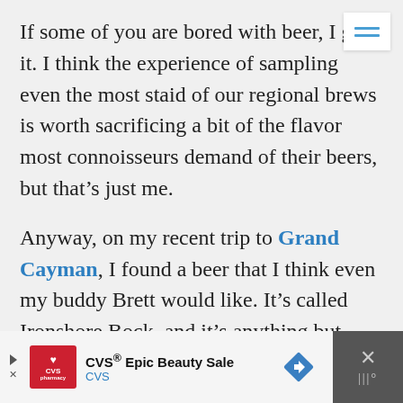If some of you are bored with beer, I get it. I think the experience of sampling even the most staid of our regional brews is worth sacrificing a bit of the flavor most connoisseurs demand of their beers, but that's just me.
Anyway, on my recent trip to Grand Cayman, I found a beer that I think even my buddy Brett would like. It's called Ironshore Bock, and it's anything but your typical Caribbean beer.
[Figure (other): CVS Epic Beauty Sale advertisement banner with CVS pharmacy logo, navigation arrow icon, and close button]